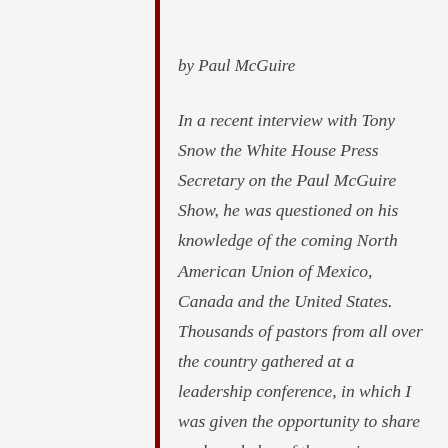by Paul McGuire
In a recent interview with Tony Snow the White House Press Secretary on the Paul McGuire Show, he was questioned on his knowledge of the coming North American Union of Mexico, Canada and the United States. Thousands of pastors from all over the country gathered at a leadership conference, in which I was given the opportunity to share my knowledge of the coming merger. With blank faces, the pastors admitted to being unaware of such a merger...